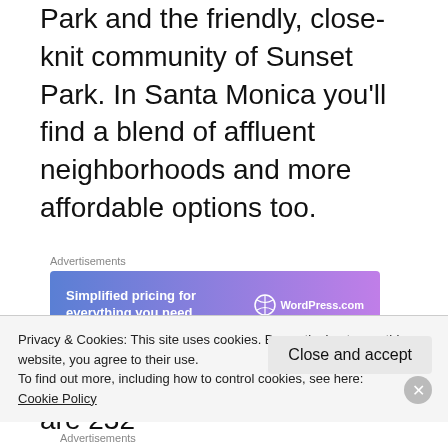Park and the friendly, close-knit community of Sunset Park. In Santa Monica you'll find a blend of affluent neighborhoods and more affordable options too.
Advertisements
[Figure (other): WordPress.com advertisement banner with gradient blue-purple background. Text reads: 'Simplified pricing for everything you need.' with WordPress.com logo on the right.]
In Santa Monica today, there are 232
Privacy & Cookies: This site uses cookies. By continuing to use this website, you agree to their use.
To find out more, including how to control cookies, see here:
Cookie Policy
Advertisements